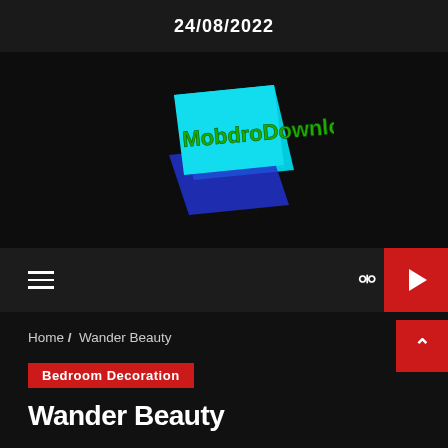24/08/2022
[Figure (logo): MobdroDownloads logo with cyan/blue parallelogram shape and green stylized text]
Home / Wander Beauty
Bedroom Decoration
Wander Beauty